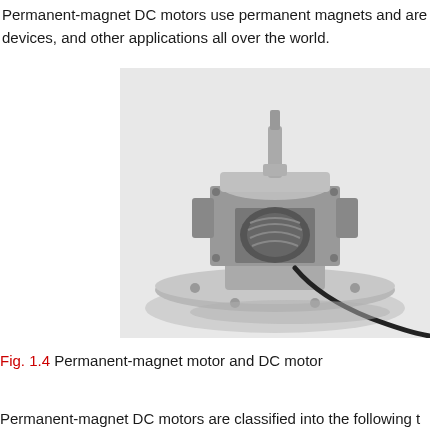Permanent-magnet DC motors use permanent magnets and are devices, and other applications all over the world.
[Figure (photo): Black and white photograph of a permanent-magnet DC motor assembly showing the motor body with a shaft on top, mounted on a circular metal base plate, with a black cable coming from the bottom.]
Fig. 1.4 Permanent-magnet motor and DC motor
Permanent-magnet DC motors are classified into the following t